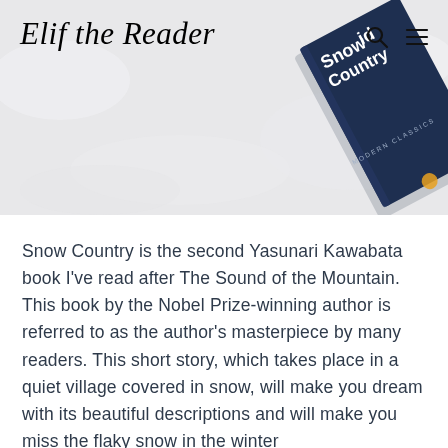[Figure (photo): Header photo of a dark blue book titled 'Snow Country' resting on a snowy white surface, shot from above at an angle. The book cover shows white text and appears to be a Penguin Modern Classics edition.]
Elif the Reader
Snow Country is the second Yasunari Kawabata book I've read after The Sound of the Mountain. This book by the Nobel Prize-winning author is referred to as the author's masterpiece by many readers. This short story, which takes place in a quiet village covered in snow, will make you dream with its beautiful descriptions and will make you miss the flaky snow in the winter